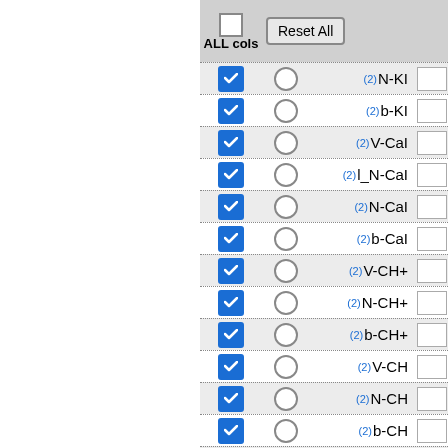[Figure (screenshot): UI panel showing checkboxes, radio buttons, and labels for ion series selection. Rows include: N-KI, b-KI, V-CaI, l_N-CaI, N-CaI, b-CaI, V-CH+, N-CH+, b-CH+, V-CH, N-CH, b-CH, V-CN. Each row has a checked blue checkbox, an unchecked radio button, a (2) superscript label, and an input box on the right. Header row shows a Reset All button and ALL cols label.]